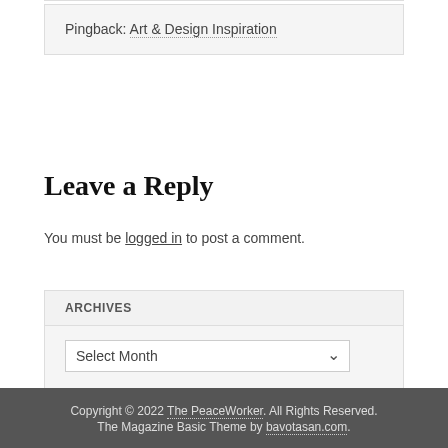Pingback: Art & Design Inspiration
Leave a Reply
You must be logged in to post a comment.
ARCHIVES
Select Month
Copyright © 2022 The PeaceWorker. All Rights Reserved. The Magazine Basic Theme by bavotasan.com.